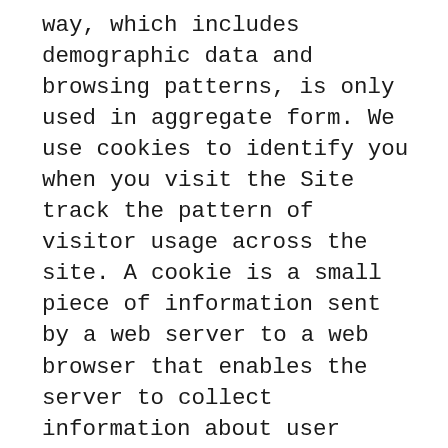way, which includes demographic data and browsing patterns, is only used in aggregate form. We use cookies to identify you when you visit the Site track the pattern of visitor usage across the site. A cookie is a small piece of information sent by a web server to a web browser that enables the server to collect information about user preferences on the website. They may also include the date and time of visits, the pages viewed, time spent at our site, and the site(s) visited just before and just after our site. This enables us to gather feedback which we may use to improve our site and better serve our clients. Cookies do not allow us to